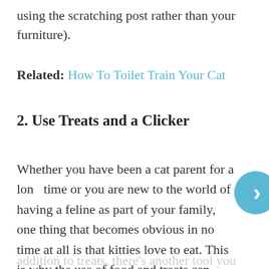using the scratching post rather than your furniture).
Related: How To Toilet Train Your Cat
2. Use Treats and a Clicker
Whether you have been a cat parent for a long time or you are new to the world of having a feline as part of your family, one thing that becomes obvious in no time at all is that kitties love to eat. This is why the use of food and treats can come in really handy. But, in
addition to treats, there's another tool you can